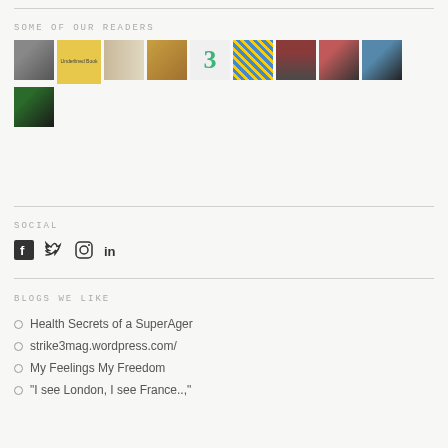SOME OF OUR READERS
[Figure (photo): Grid of reader profile/avatar thumbnail images, two rows: row 1 has 8 images (vintage scene, yellow board book, zebras, food/baking, number 3 graphic, blue/yellow fabric, red-haired person, couple), row 2 has 2 images (person by curtain, monkey/chimp).]
SOCIAL
[Figure (infographic): Social media icons row: Facebook, Twitter, Instagram, LinkedIn]
BLOGS WE LIKE
Health Secrets of a SuperAger
strike3mag.wordpress.com/
My Feelings My Freedom
"I see London, I see France...,"